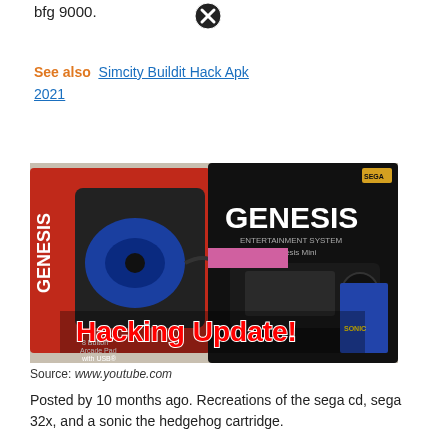bfg 9000.
[Figure (other): Close button (X circle icon) top]
See also  Simcity Buildit Hack Apk 2021
[Figure (photo): Sega Genesis product boxes with 8 Button Arcade Pad with USB, and Sega Genesis Mini console box, with overlay text 'Hacking Update!']
Source: www.youtube.com
Posted by 10 months ago. Recreations of the sega cd, sega 32x, and a sonic the hedgehog cartridge.
[Figure (photo): Partial image showing 'TOWER' text on colorful background with a person and a close button overlay]